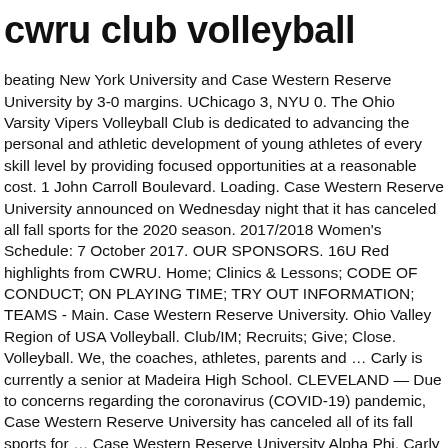cwru club volleyball
beating New York University and Case Western Reserve University by 3-0 margins. UChicago 3, NYU 0. The Ohio Varsity Vipers Volleyball Club is dedicated to advancing the personal and athletic development of young athletes of every skill level by providing focused opportunities at a reasonable cost. 1 John Carroll Boulevard. Loading. Case Western Reserve University announced on Wednesday night that it has canceled all fall sports for the 2020 season. 2017/2018 Women's Schedule: 7 October 2017. OUR SPONSORS. 16U Red highlights from CWRU. Home; Clinics & Lessons; CODE OF CONDUCT; ON PLAYING TIME; TRY OUT INFORMATION; TEAMS - Main. Case Western Reserve University. Ohio Valley Region of USA Volleyball. Club/IM; Recruits; Give; Close. Volleyball. We, the coaches, athletes, parents and … Carly is currently a senior at Madeira High School. CLEVELAND — Due to concerns regarding the coronavirus (COVID-19) pandemic, Case Western Reserve University has canceled all of its fall sports for … Case Western Reserve University Alpha Phi. Carly is entering her third year at Tri-State Elite. ... Volleyball Club; Sign In Join Group. Quicksilver V olleyball Club. Lemon had an outstanding game, collecting 10 kills and 12 digs. March 9, 2020. View the profiles of professionals named